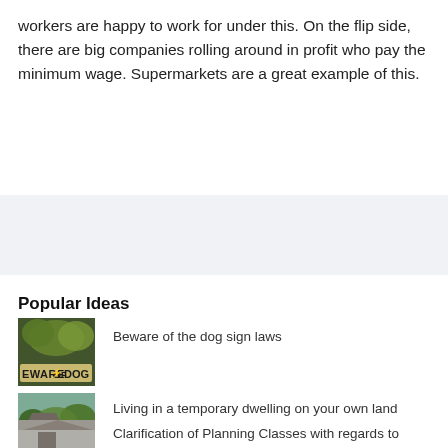workers are happy to work for under this. On the flip side, there are big companies rolling around in profit who pay the minimum wage. Supermarkets are a great example of this.
[Figure (other): Advertisement banner area with light gray background]
Popular Ideas
[Figure (photo): Beware of dog sign, dark forest background with 'EWARE OF DOG' text visible]
Beware of the dog sign laws
[Figure (photo): Small rural dwelling or cabin in a green field with trees in background]
Living in a temporary dwelling on your own land
[Figure (photo): Building or house, partially visible at bottom of page]
Clarification of Planning Classes with regards to